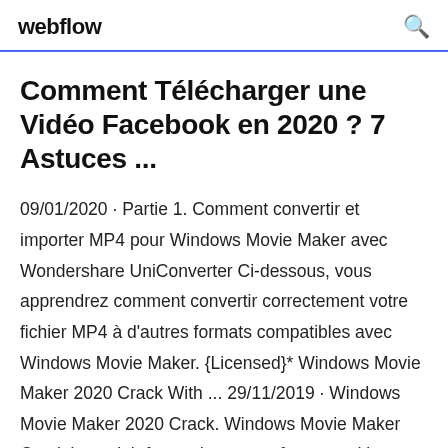webflow
Comment Télécharger une Vidéo Facebook en 2020 ? 7 Astuces ...
09/01/2020 · Partie 1. Comment convertir et importer MP4 pour Windows Movie Maker avec Wondershare UniConverter Ci-dessous, vous apprendrez comment convertir correctement votre fichier MP4 à d'autres formats compatibles avec Windows Movie Maker. {Licensed}* Windows Movie Maker 2020 Crack With ... 29/11/2019 · Windows Movie Maker 2020 Crack. Windows Movie Maker Crack is straightforward to use software and is a compelling application specially developed for